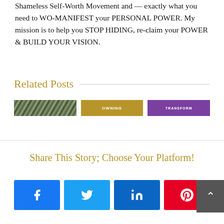Shameless Self-Worth Movement and — exactly what you need to WO-MANIFEST your PERSONAL POWER. My mission is to help you STOP HIDING, re-claim your POWER & BUILD YOUR VISION.
Related Posts
[Figure (photo): Three thumbnail images for related posts: a nature/forest photo, an olive/gold banner with text 'OWNING', and a purple banner with text 'TRANSFORM']
Share This Story; Choose Your Platform!
[Figure (infographic): Four social sharing buttons: Facebook (blue), Twitter (light blue), LinkedIn (dark blue), Pinterest (red). A dark gray scroll-to-top button with an up arrow overlaps the right side.]